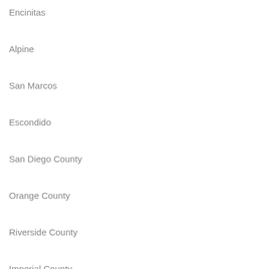Encinitas
Alpine
San Marcos
Escondido
San Diego County
Orange County
Riverside County
Imperial County
Los Angeles County